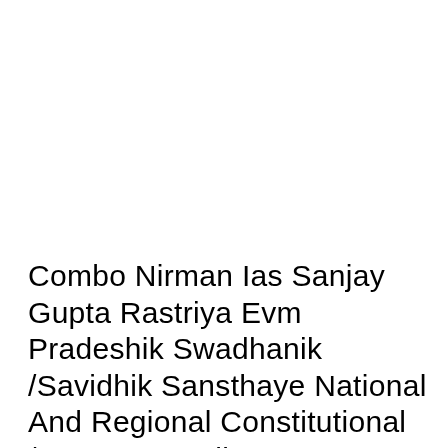Combo Nirman Ias Sanjay Gupta Rastriya Evm Pradeshik Swadhanik /Savidhik Sansthaye National And Regional Constitutional /Statutory Bodies MPPSC Preliminary 2020 Unit-10 Food Processing (Khad